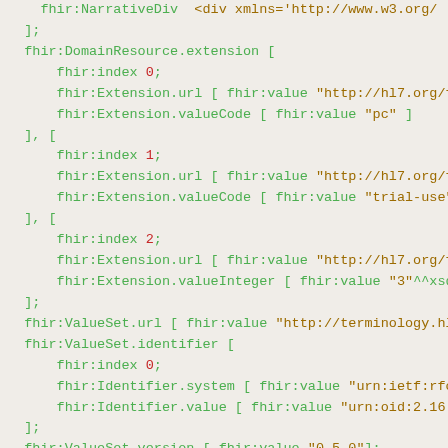fhir:NarrativeDiv  <div xmlns='http://www.w3.org/...
];
fhir:DomainResource.extension [
    fhir:index 0;
    fhir:Extension.url [ fhir:value "http://hl7.org/fh...
    fhir:Extension.valueCode [ fhir:value "pc" ]
], [
    fhir:index 1;
    fhir:Extension.url [ fhir:value "http://hl7.org/fh...
    fhir:Extension.valueCode [ fhir:value "trial-use"
], [
    fhir:index 2;
    fhir:Extension.url [ fhir:value "http://hl7.org/fh...
    fhir:Extension.valueInteger [ fhir:value "3"^^xsd:...
];
fhir:ValueSet.url [ fhir:value "http://terminology.hl...
fhir:ValueSet.identifier [
    fhir:index 0;
    fhir:Identifier.system [ fhir:value "urn:ietf:rfc:...
    fhir:Identifier.value [ fhir:value "urn:oid:2.16.84...
];
fhir:ValueSet.version [ fhir:value "0.5.0"];
fhir:ValueSet.name [ fhir:value "AllergyIntoleranceVe...